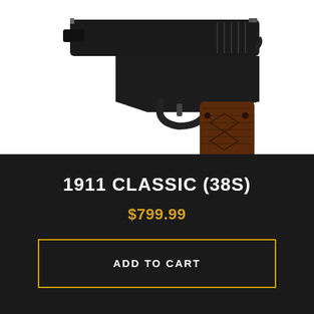[Figure (photo): Close-up photograph of a 1911 Classic pistol with black finish and dark wood grain grips, shown from the right side on a white background.]
1911 CLASSIC (38S)
$799.99
ADD TO CART